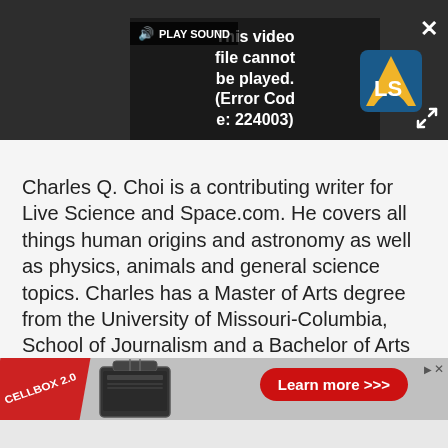[Figure (screenshot): Video player showing error message 'This video file cannot be played. (Error Code: 224003)' with PLAY SOUND button, Live Science logo, close X button and expand icon on dark background]
Charles Q. Choi is a contributing writer for Live Science and Space.com. He covers all things human origins and astronomy as well as physics, animals and general science topics. Charles has a Master of Arts degree from the University of Missouri-Columbia, School of Journalism and a Bachelor of Arts degree from the University of South Florida. Charles has visited every continent
[Figure (infographic): Advertisement banner for CELLBOX 2.0 product showing a dark suitcase/case on grey background with red 'Learn more >>>' button and AdChoices icon]